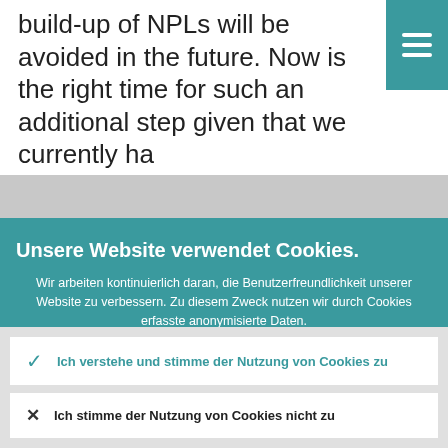build-up of NPLs will be avoided in the future. Now is the right time for such an additional step given that we currently ha
[Figure (screenshot): Cookie consent overlay on a website with teal background. Contains title 'Unsere Website verwendet Cookies.', descriptive text about cookie usage, a link to more information, and two buttons: accept and decline cookies.]
Unsere Website verwendet Cookies.
Wir arbeiten kontinuierlich daran, die Benutzerfreundlichkeit unserer Website zu verbessern. Zu diesem Zweck nutzen wir durch Cookies erfasste anonymisierte Daten.
Weitere Informationen zu unserer Nutzung von Cookies
Ich verstehe und stimme der Nutzung von Cookies zu
Ich stimme der Nutzung von Cookies nicht zu